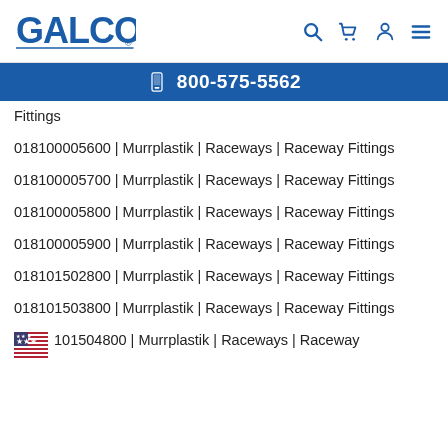GALCO [logo] | search | cart | account | menu
📱 800-575-5562
Fittings
018100005600 | Murrplastik | Raceways | Raceway Fittings
018100005700 | Murrplastik | Raceways | Raceway Fittings
018100005800 | Murrplastik | Raceways | Raceway Fittings
018100005900 | Murrplastik | Raceways | Raceway Fittings
018101502800 | Murrplastik | Raceways | Raceway Fittings
018101503800 | Murrplastik | Raceways | Raceway Fittings
018101504800 | Murrplastik | Raceways | Raceway